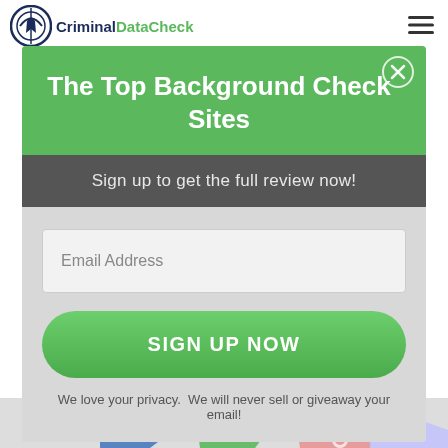CriminalDataCheck
The Top Background Check Sites
Sign up to get the full review now!
Email Address
SIGN UP NOW
We love your privacy.  We will never sell or giveaway your email!
[Figure (map): Partial US map visible at bottom of page]